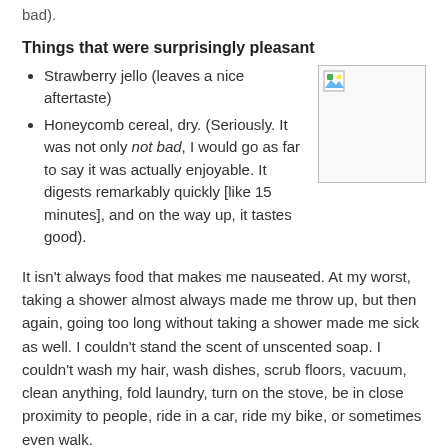bad).
Things that were surprisingly pleasant
Strawberry jello (leaves a nice aftertaste)
Honeycomb cereal, dry. (Seriously. It was not only not bad, I would go as far to say it was actually enjoyable. It digests remarkably quickly [like 15 minutes], and on the way up, it tastes good).
[Figure (photo): Broken/missing image placeholder with small image icon in top-left corner]
It isn't always food that makes me nauseated. At my worst, taking a shower almost always made me throw up, but then again, going too long without taking a shower made me sick as well. I couldn't stand the scent of unscented soap. I couldn't wash my hair, wash dishes, scrub floors, vacuum, clean anything, fold laundry, turn on the stove, be in close proximity to people, ride in a car, ride my bike, or sometimes even walk.
It doesn't only hurt to eat—to eat the wrong amount of the...